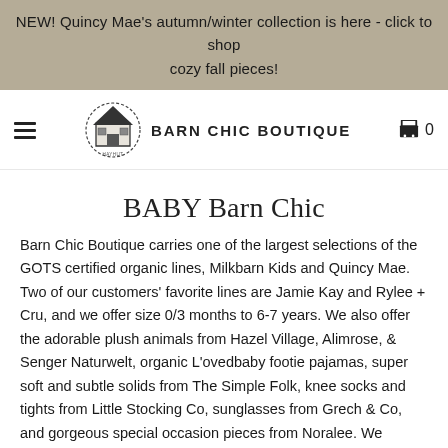NEW! Quincy Mae's autumn/winter collection is here - click to shop cozy fall pieces!
[Figure (logo): Barn Chic Boutique logo: circular wreath with a house icon, next to the text BARN CHIC BOUTIQUE]
BABY Barn Chic
Barn Chic Boutique carries one of the largest selections of the GOTS certified organic lines, Milkbarn Kids and Quincy Mae. Two of our customers' favorite lines are Jamie Kay and Rylee + Cru, and we offer size 0/3 months to 6-7 years. We also offer the adorable plush animals from Hazel Village, Alimrose, & Senger Naturwelt, organic L'ovedbaby footie pajamas, super soft and subtle solids from The Simple Folk, knee socks and tights from Little Stocking Co, sunglasses from Grech & Co, and gorgeous special occasion pieces from Noralee. We prioritize supporting other small businesses and are proud to offer small maker brands like Ado +